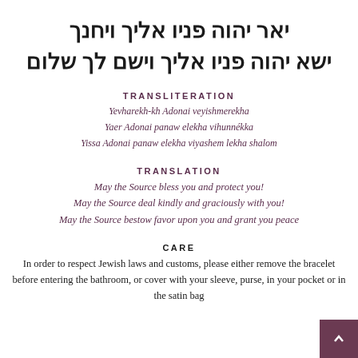יאר יהוה פניו אליך ויחנך
ישא יהוה פניו אליך וישם לך שלום
TRANSLITERATION
Yevharekh-kh Adonai veyishmerekha
Yaer Adonai panaw elekha vihunnékka
Yissa Adonai panaw elekha viyashem lekha shalom
TRANSLATION
May the Source bless you and protect you!
May the Source deal kindly and graciously with you!
May the Source bestow favor upon you and grant you peace
CARE
In order to respect Jewish laws and customs, please either remove the bracelet before entering the bathroom, or cover with your sleeve, purse, in your pocket or in the satin bag